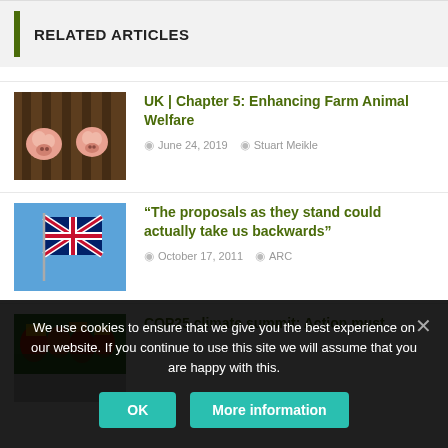RELATED ARTICLES
UK | Chapter 5: Enhancing Farm Animal Welfare — June 24, 2019 — Stuart Meikle
“The proposals as they stand could actually take us backwards” — October 17, 2011 — ARC
COP25 climate summit: Action must
We use cookies to ensure that we give you the best experience on our website. If you continue to use this site we will assume that you are happy with this.